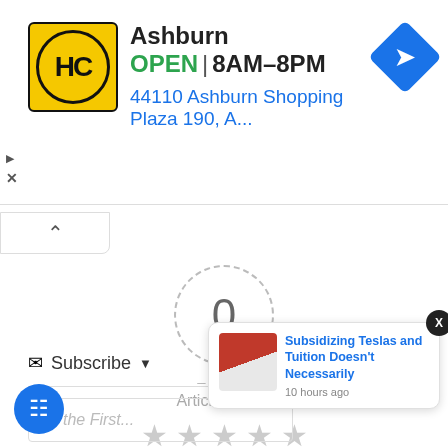[Figure (screenshot): Advertisement banner for HC store in Ashburn showing OPEN hours 8AM-8PM, address 44110 Ashburn Shopping Plaza 190, A..., with yellow HC logo and blue navigation arrow icon]
[Figure (screenshot): Collapse/minimize tab with upward chevron arrow]
[Figure (other): Article rating widget showing 0 rating score in dashed circle, dashes on either side, Article Rating label, and 5 empty gray stars]
[Figure (screenshot): Blue notification bell icon with red badge showing count 3]
Subscribe
Be the First
[Figure (screenshot): Notification popup showing article: Subsidizing Teslas and Tuition Doesn't Necessarily, posted 10 hours ago, with Tesla image thumbnail and X close button]
[Figure (screenshot): Blue chat/comment bubble button in bottom left corner]